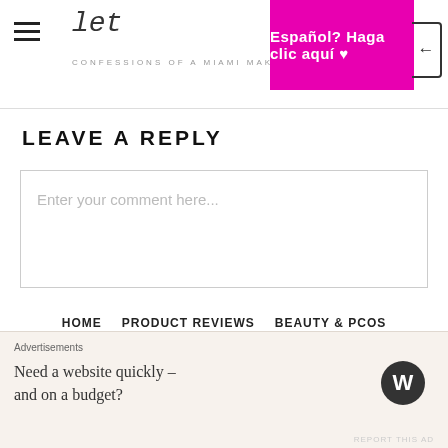Español? Haga clic aquí ♥ — CONFESSIONS OF A MIAMI MAKEUP ARTIST
LEAVE A REPLY
Enter your comment here...
HOME  PRODUCT REVIEWS  BEAUTY & PCOS  BEHIND THE SCENES  #OOTD  MY WORK  CONTACT  SPANISH BEAUTY
Advertisements
Need a website quickly – and on a budget?